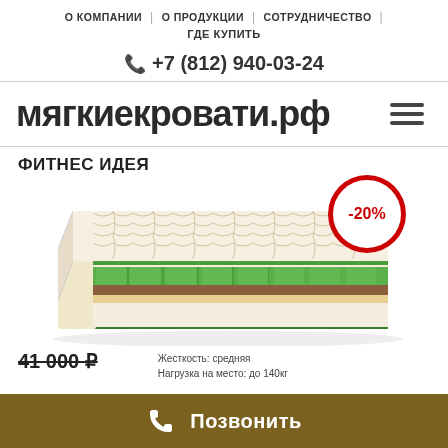О КОМПАНИИ | О ПРОДУКЦИИ | СОТРУДНИЧЕСТВО | ГДЕ КУПИТЬ
☎ +7 (812) 940-03-24
мягкиекровати.рф
ФИТНЕС ИДЕЯ
[Figure (illustration): Cross-section illustration of a mattress showing layered internal structure with springs and foam layers, with a -20% discount badge overlay]
41 000 ₽
Жесткость: средняя
Нагрузка на место: до 140кг
Позвонить